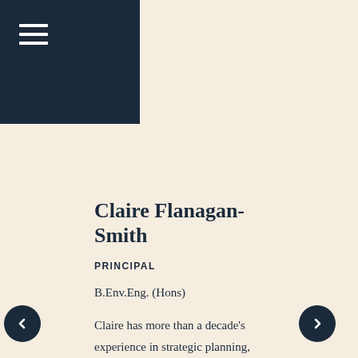Navigation menu icon
Claire Flanagan-Smith
PRINCIPAL
B.Env.Eng. (Hons)
Claire has more than a decade's experience in strategic planning, facilitation and community engagement in a range of industries. Claire's people and strategy skills are underpinned by a strong understanding of engineering and policy. She helps communities and organisations deal with complex issues, supporting insight and constructive strategy. Claire has delivered quality projects including